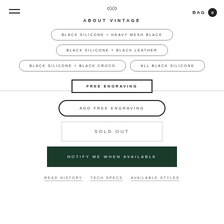ABOUT VINTAGE
BLACK SILICONE + HEAVY MESH BLACK
BLACK SILICONE + BLACK LEATHER
BLACK SILICONE + BLACK CROCO
ALL BLACK SILICONE
FREE ENGRAVING
ADD FREE ENGRAVING
SOLD OUT
NOTIFY ME WHEN AVAILABLE
READ HISTORY  TECH SPECS  AVAILABLE STYLES